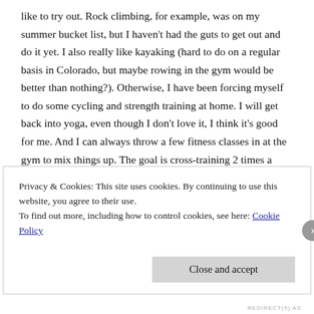like to try out. Rock climbing, for example, was on my summer bucket list, but I haven't had the guts to get out and do it yet. I also really like kayaking (hard to do on a regular basis in Colorado, but maybe rowing in the gym would be better than nothing?). Otherwise, I have been forcing myself to do some cycling and strength training at home. I will get back into yoga, even though I don't love it, I think it's good for me. And I can always throw a few fitness classes in at the gym to mix things up. The goal is cross-training 2 times a week. In order to stick to it, I'm just committing to doing it in some form or another, not necessarily a certain kind. I don't
Privacy & Cookies: This site uses cookies. By continuing to use this website, you agree to their use.
To find out more, including how to control cookies, see here: Cookie Policy
Close and accept
REDIRECT(5) AS